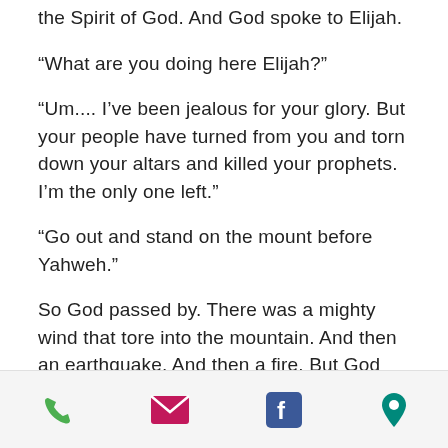the Spirit of God.  And God spoke to Elijah.
“What are you doing here Elijah?”
“Um....  I’ve been jealous for your glory.  But your people have turned from you and torn down your altars and killed your prophets.  I’m the only one left.”
“Go out and stand on the mount before Yahweh.”
So God passed by.  There was a mighty wind that tore into the mountain.  And then an earthquake.  And then a fire.  But God wasn’t in any of those.  Then,
[phone] [email] [facebook] [location]